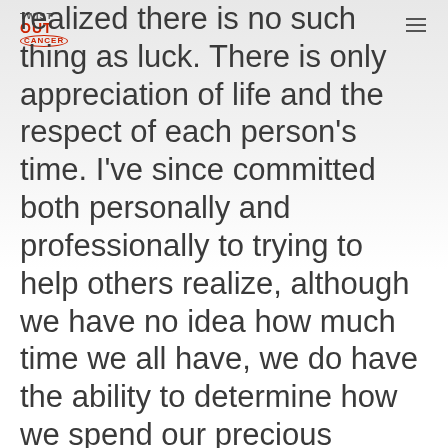TWIST OUT CANCER
realized there is no such thing as luck. There is only appreciation of life and the respect of each person's time. I've since committed both personally and professionally to trying to help others realize, although we have no idea how much time we all have, we do have the ability to determine how we spend our precious commodity of time each and every day.